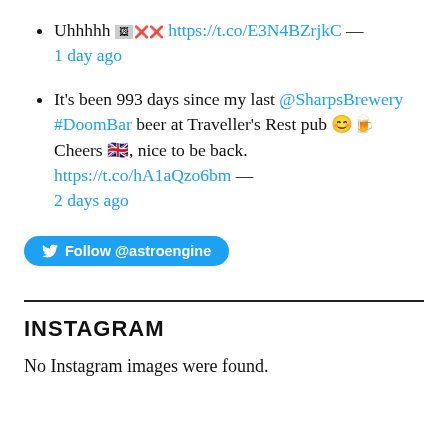Uhhhhh 🖼️ https://t.co/E3N4BZrjkC -- 1 day ago
It's been 993 days since my last @SharpsBrewery #DoomBar beer at Traveller's Rest pub 😊🍺 Cheers 🇬🇧, nice to be back. https://t.co/hA1aQzo6bm -- 2 days ago
[Figure (other): Twitter Follow @astroengine button]
INSTAGRAM
No Instagram images were found.